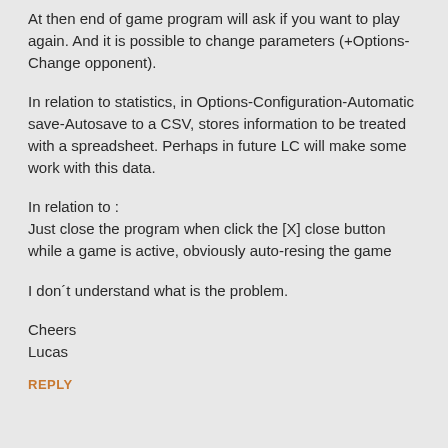At then end of game program will ask if you want to play again. And it is possible to change parameters (+Options-Change opponent).
In relation to statistics, in Options-Configuration-Automatic save-Autosave to a CSV, stores information to be treated with a spreadsheet. Perhaps in future LC will make some work with this data.
In relation to :
Just close the program when click the [X] close button while a game is active, obviously auto-resing the game
I don´t understand what is the problem.
Cheers
Lucas
REPLY